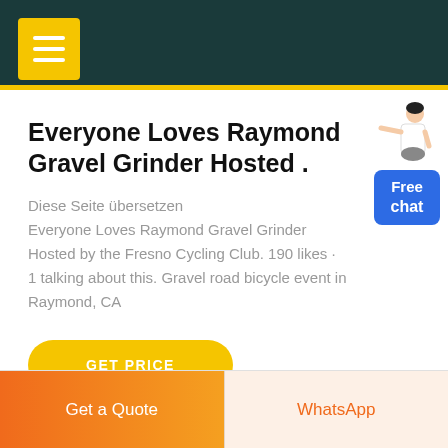Everyone Loves Raymond Gravel Grinder Hosted .
Diese Seite übersetzen
Everyone Loves Raymond Gravel Grinder Hosted by the Fresno Cycling Club. 190 likes · 1 talking about this. Gravel road bicycle event in Raymond, CA
[Figure (illustration): Woman in white blouse standing and pointing, with a blue 'Free chat' button widget beside her]
Get a Quote   WhatsApp